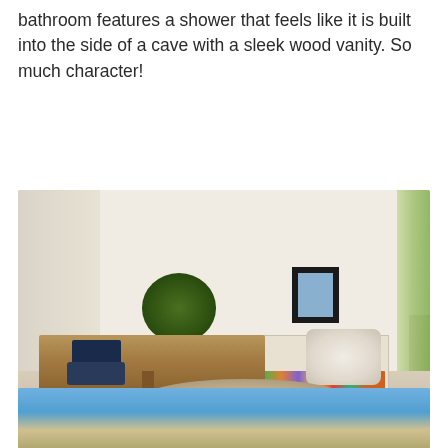bathroom features a shower that feels like it is built into the side of a cave with a sleek wood vanity. So much character!
[Figure (photo): Interior room photo showing a modern home office/study with a large wood desk, dark Eames-style chair, fiddle-leaf fig plant, low white bookshelf filled with books and artwork, a fluffy sheepskin chair, shag rug on light wood floor, large windows on the right with greenery outside, and framed artwork on the shelf.]
[Figure (photo): Partial view of another room photo showing blue sky and architectural elements visible at the bottom of the page.]